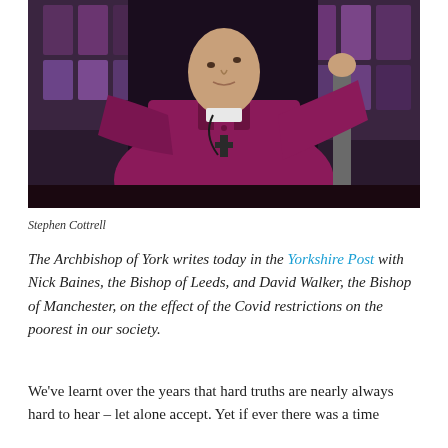[Figure (photo): Stephen Cottrell, Archbishop of York, dressed in purple/magenta bishop's robes holding a ceremonial staff, photographed in front of stained glass windows in a church]
Stephen Cottrell
The Archbishop of York writes today in the Yorkshire Post with Nick Baines, the Bishop of Leeds, and David Walker, the Bishop of Manchester, on the effect of the Covid restrictions on the poorest in our society.
We've learnt over the years that hard truths are nearly always hard to hear – let alone accept. Yet if ever there was a time